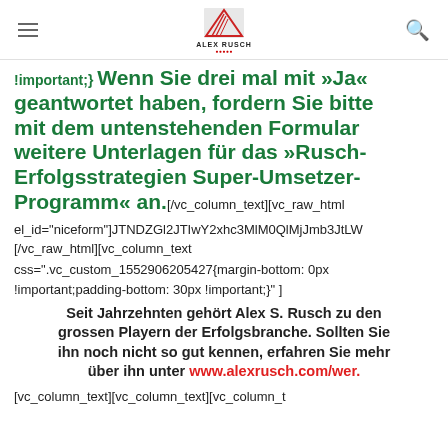ALEX RUSCH
!important;} // Wenn Sie drei mal mit »Ja« geantwortet haben, fordern Sie bitte mit dem untenstehenden Formular weitere Unterlagen für das »Rusch-Erfolgsstrategien Super-Umsetzer-Programm« an.[/vc_column_text][vc_raw_html el_id="niceform"]JTNDZGl2JTIwY2xhc3MlM0QlMjJmb3JtLW [/vc_raw_html][vc_column_text css=".vc_custom_1552906205427{margin-bottom: 0px !important;padding-bottom: 30px !important;}"]
Seit Jahrzehnten gehört Alex S. Rusch zu den grossen Playern der Erfolgsbranche. Sollten Sie ihn noch nicht so gut kennen, erfahren Sie mehr über ihn unter www.alexrusch.com/wer.
[vc_column_text][vc_column_text][vc_column_t